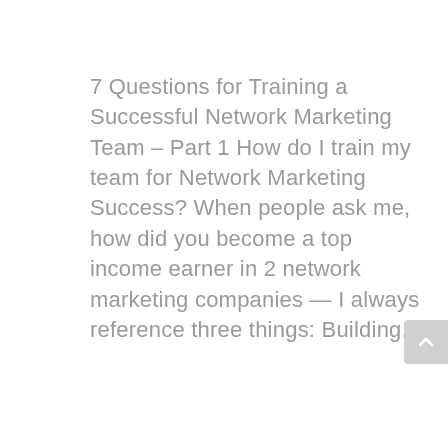7 Questions for Training a Successful Network Marketing Team – Part 1 How do I train my team for Network Marketing Success? When people ask me, how did you become a top income earner in 2 network marketing companies — I always reference three things: Building...